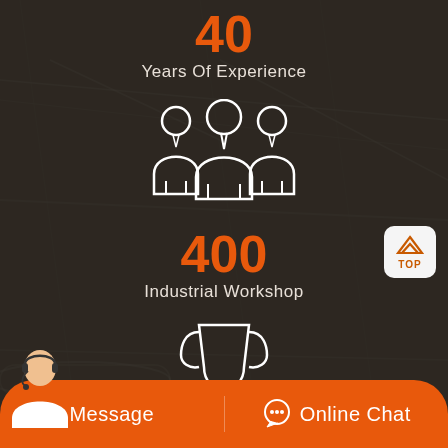40
Years Of Experience
[Figure (illustration): White outline icon of three business people/team members standing together]
400
Industrial Workshop
[Figure (illustration): White outline trophy/award cup icon on a pedestal]
[Figure (photo): Customer service representative person in white shirt with headset, shown at bottom left]
Message
Online Chat